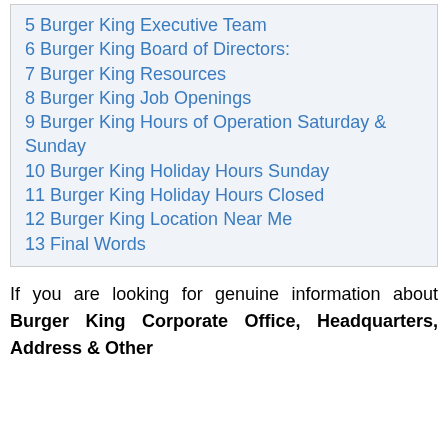5 Burger King Executive Team
6 Burger King Board of Directors:
7 Burger King Resources
8 Burger King Job Openings
9 Burger King Hours of Operation Saturday & Sunday
10 Burger King Holiday Hours Sunday
11 Burger King Holiday Hours Closed
12 Burger King Location Near Me
13 Final Words
If you are looking for genuine information about Burger King Corporate Office, Headquarters, Address & Other